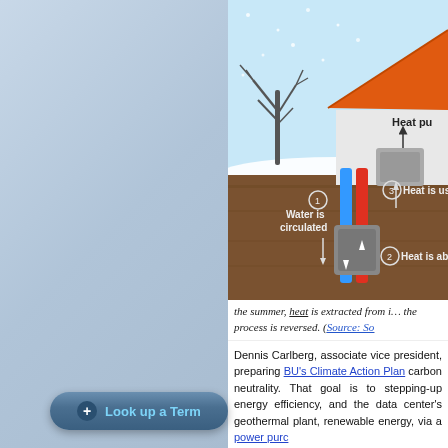[Figure (infographic): Geothermal heat pump diagram showing a winter scene with a house with an orange roof, a bare tree, snow on the ground. Underground section shows: (1) Water is circulated (blue/red pipes going down), (2) Heat is absorbed (underground), (3) Heat is used (at heat pump unit connected to house). Labels show 'Heat pu[mp]' at top right with arrow to gray box unit.]
the summer, heat is extracted from i[nside] the process is reversed. (Source: So[…]
Dennis Carlberg, associate vice pre[sident,] preparing BU's Climate Action Plan[…] carbon neutrality. That goal is to[…] stepping-up energy efficiency, and[…] the data center's geothermal pla[nt,] renewable energy, via a power purc[hase…]
Carlberg acknowledges that transfo[rming is] a tough challenge, but he credits[…] technology solutions. "The center[…]
Look up a Term